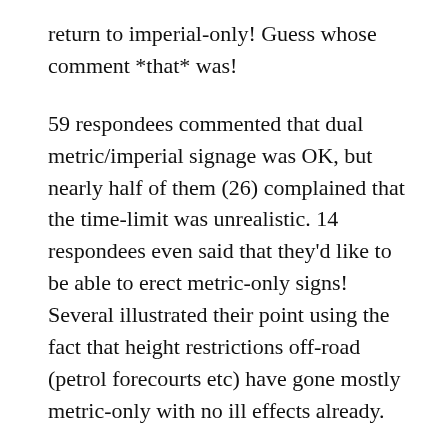return to imperial-only! Guess whose comment *that* was!
59 respondees commented that dual metric/imperial signage was OK, but nearly half of them (26) complained that the time-limit was unrealistic. 14 respondees even said that they'd like to be able to erect metric-only signs! Several illustrated their point using the fact that height restrictions off-road (petrol forecourts etc) have gone mostly metric-only with no ill effects already.
Back to Erithacus again: “It is noteworthy that the author seized on the minority of responses that complained about the short term cost of